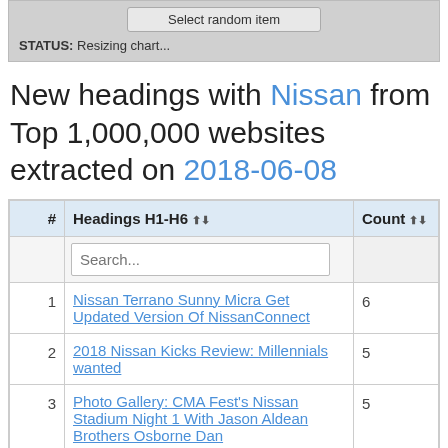[Figure (screenshot): UI status bar showing 'Select random item' button and STATUS: Resizing chart... text]
New headings with Nissan from Top 1,000,000 websites extracted on 2018-06-08
| # | Headings H1-H6 | Count |
| --- | --- | --- |
| 1 | Nissan Terrano Sunny Micra Get Updated Version Of NissanConnect | 6 |
| 2 | 2018 Nissan Kicks Review: Millennials wanted | 5 |
| 3 | Photo Gallery: CMA Fest's Nissan Stadium Night 1 With Jason Aldean Brothers Osborne Dan | 5 |